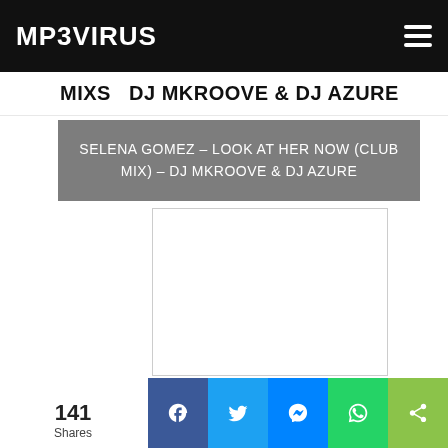MP3VIRUS
MIXS  DJ MKROOVE & DJ AZURE
SELENA GOMEZ – LOOK AT HER NOW (CLUB MIX) – DJ MKROOVE & DJ AZURE
[Figure (screenshot): Embedded media player area (white box with light border)]
141 Shares